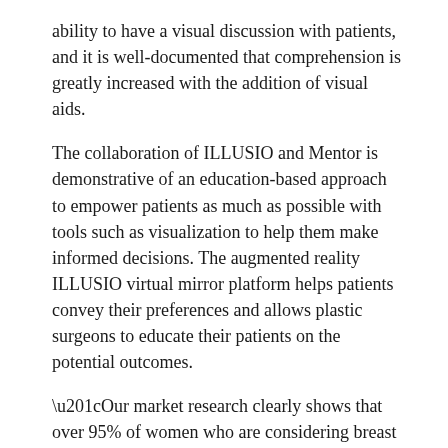ability to have a visual discussion with patients, and it is well-documented that comprehension is greatly increased with the addition of visual aids.
The collaboration of ILLUSIO and Mentor is demonstrative of an education-based approach to empower patients as much as possible with tools such as visualization to help them make informed decisions. The augmented reality ILLUSIO virtual mirror platform helps patients convey their preferences and allows plastic surgeons to educate their patients on the potential outcomes.
“Our market research clearly shows that over 95% of women who are considering breast augmentation would prefer to see a surgeon who is using a visualization platform such as ILLUSIO. It enables them to fully comprehend what their plastic surgeon is envisioning for their body,” say Ethan Winner, CEO